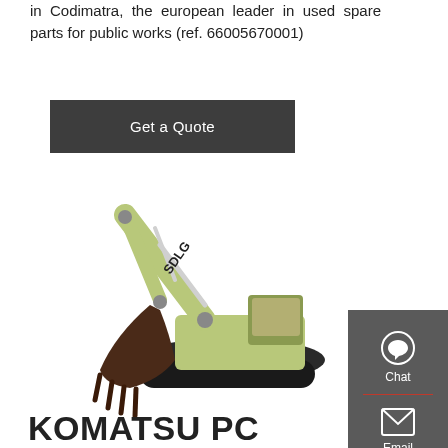in Codimatra, the european leader in used spare parts for public works (ref. 66005670001)
Get a Quote
[Figure (photo): SDLG branded crawler excavator with green body and dark brown bucket, shown in profile view]
[Figure (infographic): Sidebar with Chat, Email, and Contact icons on dark grey background]
KOMATSU PC